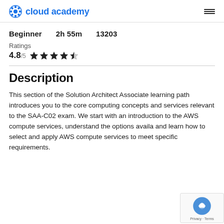cloud academy
Beginner   2h 55m   13203
Ratings
4.8/5 ★★★★☆
Description
This section of the Solution Architect Associate learning path introduces you to the core computing concepts and services relevant to the SAA-C02 exam. We start with an introduction to the AWS compute services, understand the options available and learn how to select and apply AWS compute services to meet specific requirements.